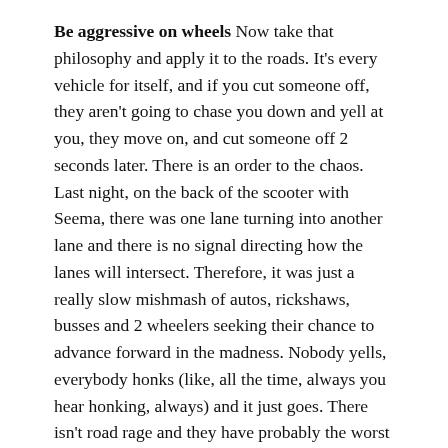Be aggressive on wheels Now take that philosophy and apply it to the roads. It's every vehicle for itself, and if you cut someone off, they aren't going to chase you down and yell at you, they move on, and cut someone off 2 seconds later. There is an order to the chaos. Last night, on the back of the scooter with Seema, there was one lane turning into another lane and there is no signal directing how the lanes will intersect. Therefore, it was just a really slow mishmash of autos, rickshaws, busses and 2 wheelers seeking their chance to advance forward in the madness. Nobody yells, everybody honks (like, all the time, always you hear honking, always) and it just goes. There isn't road rage and they have probably the worst traffic in the world. Why can't we just cool it in the US?
Power struggle Every now and then, the lights go out. India runs the whole show on their grid with